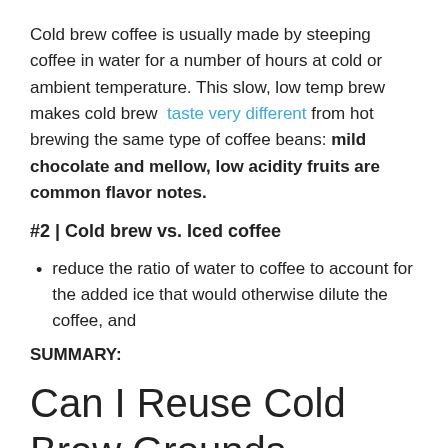Cold brew coffee is usually made by steeping coffee in water for a number of hours at cold or ambient temperature. This slow, low temp brew makes cold brew taste very different from hot brewing the same type of coffee beans: mild chocolate and mellow, low acidity fruits are common flavor notes.
#2 | Cold brew vs. Iced coffee
reduce the ratio of water to coffee to account for the added ice that would otherwise dilute the coffee, and
SUMMARY:
Can I Reuse Cold Brew Grounds
Yes! You can reuse them once, but after that you might not